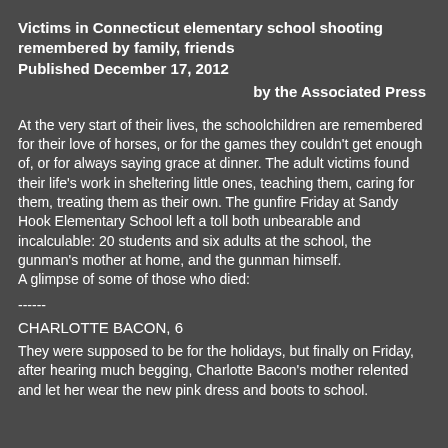Victims in Connecticut elementary school shooting remembered by family, friends
Published December 17, 2012
by the Associated Press
At the very start of their lives, the schoolchildren are remembered for their love of horses, or for the games they couldn't get enough of, or for always saying grace at dinner. The adult victims found their life's work in sheltering little ones, teaching them, caring for them, treating them as their own. The gunfire Friday at Sandy Hook Elementary School left a toll both unbearable and incalculable: 20 students and six adults at the school, the gunman's mother at home, and the gunman himself.
A glimpse of some of those who died:
------
CHARLOTTE BACON, 6
They were supposed to be for the holidays, but finally on Friday, after hearing much begging, Charlotte Bacon's mother relented and let her wear the new pink dress and boots to school.